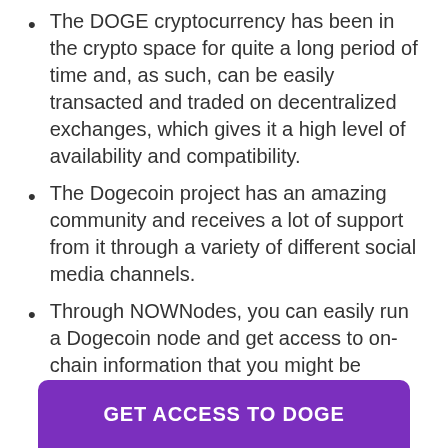The DOGE cryptocurrency has been in the crypto space for quite a long period of time and, as such, can be easily transacted and traded on decentralized exchanges, which gives it a high level of availability and compatibility.
The Dogecoin project has an amazing community and receives a lot of support from it through a variety of different social media channels.
Through NOWNodes, you can easily run a Dogecoin node and get access to on-chain information that you might be interested in having.
GET ACCESS TO DOGE